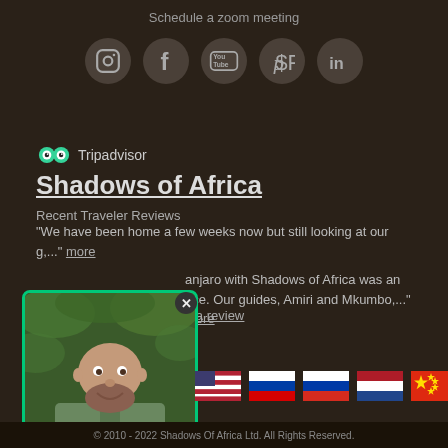Schedule a zoom meeting
[Figure (screenshot): Social media icons row: Instagram, Facebook, YouTube, Pinterest, LinkedIn — dark circular buttons]
[Figure (logo): Tripadvisor logo with owl icon]
Shadows of Africa
Recent Traveler Reviews
"We have been home a few weeks now but still looking at our g,..." more
anjaro with Shadows of Africa was an nce. Our guides, Amiri and Mkumbo,..." more
e a review
[Figure (photo): Photo of a bald man with beard in a green safari vest, outdoors with green foliage, framed with green border and close button]
[Figure (infographic): Row of country flags: USA, Slovenia, Russia, Netherlands, China]
© 2010 - 2022 Shadows Of Africa Ltd. All Rights Reserved.